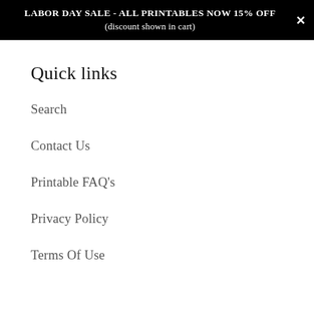LABOR DAY SALE - ALL PRINTABLES NOW 15% OFF
(discount shown in cart)
Quick links
Search
Contact Us
Printable FAQ's
Privacy Policy
Terms Of Use